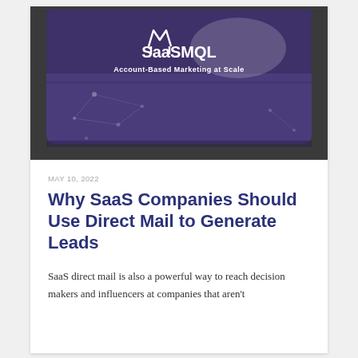[Figure (photo): A purple box with SaaSMQL logo and text 'Account-Based Marketing at Scale', photographed on a dark surface]
MAY 10, 2022
Why SaaS Companies Should Use Direct Mail to Generate Leads
SaaS direct mail is also a powerful way to reach decision makers and influencers at companies that aren't